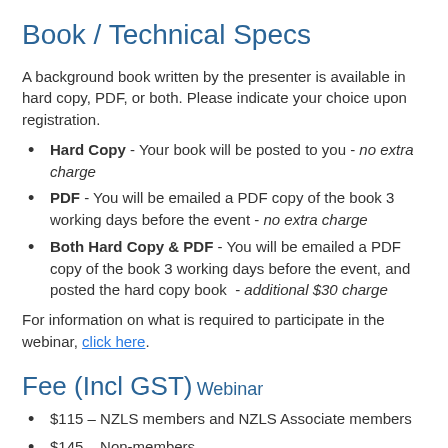Book / Technical Specs
A background book written by the presenter is available in hard copy, PDF, or both. Please indicate your choice upon registration.
Hard Copy - Your book will be posted to you - no extra charge
PDF - You will be emailed a PDF copy of the book 3 working days before the event - no extra charge
Both Hard Copy & PDF - You will be emailed a PDF copy of the book 3 working days before the event, and posted the hard copy book - additional $30 charge
For information on what is required to participate in the webinar, click here.
Fee (Incl GST)
Webinar
$115 – NZLS members and NZLS Associate members
$145 – Non-members